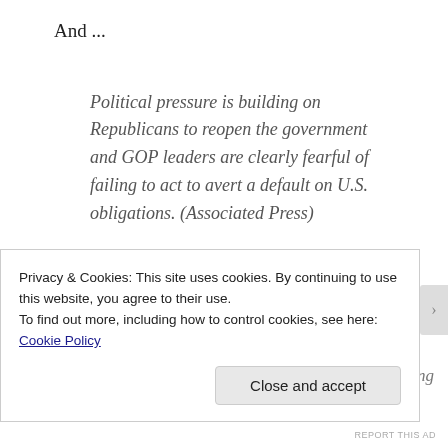And ...
Political pressure is building on Republicans to reopen the government and GOP leaders are clearly fearful of failing to act to avert a default on U.S. obligations. (Associated Press)
And ...
With Latinos less than a year away from becoming the
Privacy & Cookies: This site uses cookies. By continuing to use this website, you agree to their use.
To find out more, including how to control cookies, see here: Cookie Policy
Close and accept